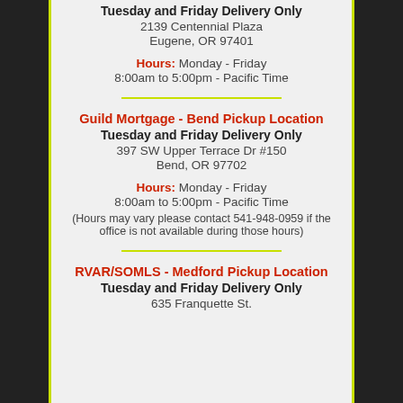Tuesday and Friday Delivery Only
2139 Centennial Plaza
Eugene, OR 97401
Hours: Monday - Friday
8:00am to 5:00pm - Pacific Time
Guild Mortgage - Bend Pickup Location
Tuesday and Friday Delivery Only
397 SW Upper Terrace Dr #150
Bend, OR 97702
Hours: Monday - Friday
8:00am to 5:00pm - Pacific Time
(Hours may vary please contact 541-948-0959 if the office is not available during those hours)
RVAR/SOMLS - Medford Pickup Location
Tuesday and Friday Delivery Only
635 Franquette St.